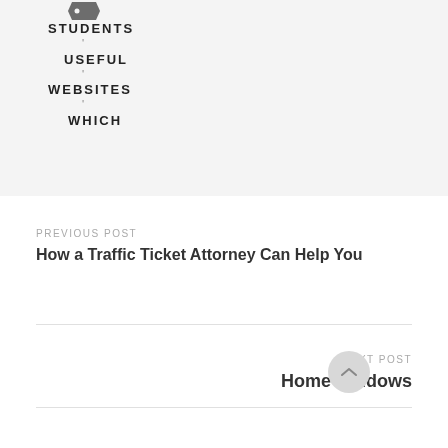[Figure (other): Tag/label icon at top]
STUDENTS
USEFUL
WEBSITES
WHICH
PREVIOUS POST
How a Traffic Ticket Attorney Can Help You
NEXT POST
Home windows